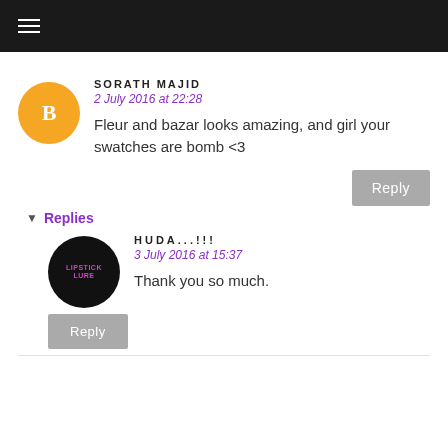≡
SORATH MAJID
2 July 2016 at 22:28
Fleur and bazar looks amazing, and girl your swatches are bomb <3
Reply
▼ Replies
HUDA...!!!
3 July 2016 at 15:37
Thank you so much.
Reply